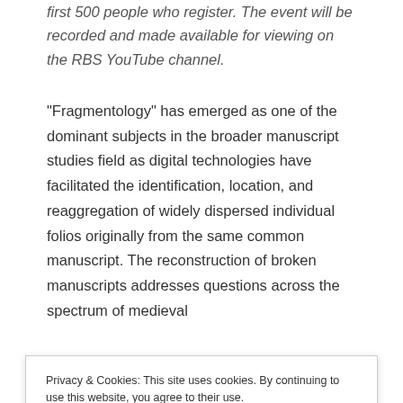first 500 people who register. The event will be recorded and made available for viewing on the RBS YouTube channel.
“Fragmentology” has emerged as one of the dominant subjects in the broader manuscript studies field as digital technologies have facilitated the identification, location, and reaggregation of widely dispersed individual folios originally from the same common manuscript. The reconstruction of broken manuscripts addresses questions across the spectrum of medieval
Privacy & Cookies: This site uses cookies. By continuing to use this website, you agree to their use.
To find out more, including how to control cookies, see here: Cookie Policy
Close and accept
it from institutional, private, commercial, and scholarly